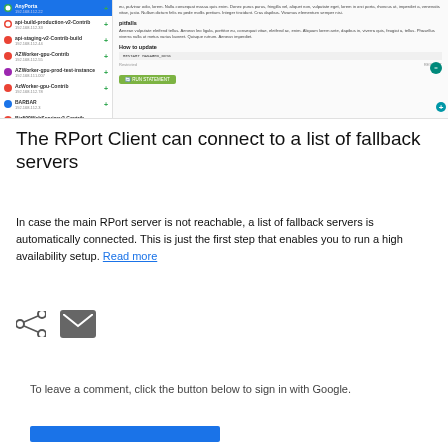[Figure (screenshot): Screenshot of a UI with a left panel showing a list of servers/clients with colored icons and IP addresses, and a right panel showing documentation text including a 'pitfalls' section, 'How to update' section with a code block, and a green 'RUN STATEMENT' button. A teal circular button and a plus button are visible on the right.]
The RPort Client can connect to a list of fallback servers
In case the main RPort server is not reachable, a list of fallback servers is automatically connected. This is just the first step that enables you to run a high availability setup. Read more
[Figure (infographic): Two icon buttons: a share icon (less-than symbol style) and a mail/envelope icon on a grey background]
To leave a comment, click the button below to sign in with Google.